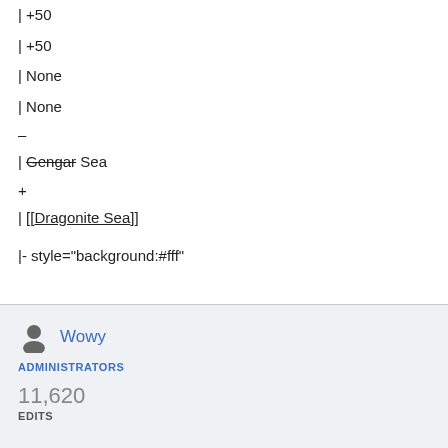| +50
| +50
| None
| None
–
| Gengar Sea
+
| [[Dragonite Sea]]
|- style="background:#fff"
Wowy
ADMINISTRATORS
11,620
EDITS